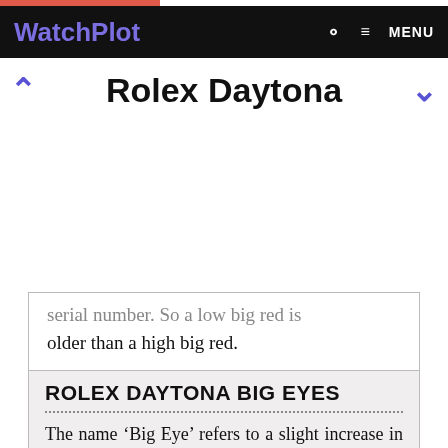WatchPlot | MENU
Rolex Daytona
serial number. So a low big red is older than a high big red.
ROLEX DAYTONA BIG EYES
The name ‘Big Eye’ refers to a slight increase in the diameter of the sub-dials. The Daytona has three sub-dials.